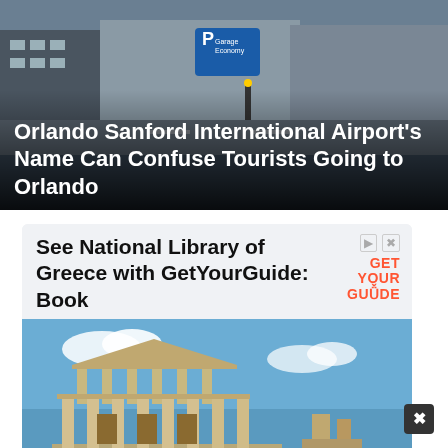[Figure (photo): Airport exterior photo showing parking garage sign and building facade, used as hero image background]
Orlando Sanford International Airport's Name Can Confuse Tourists Going to Orlando
[Figure (photo): Advertisement banner for GetYourGuide showing ancient ruins (Library of Celsus/Greek ruins) with text 'See National Library of Greece with GetYourGuide: Book' and a 'Book Now' call-to-action button]